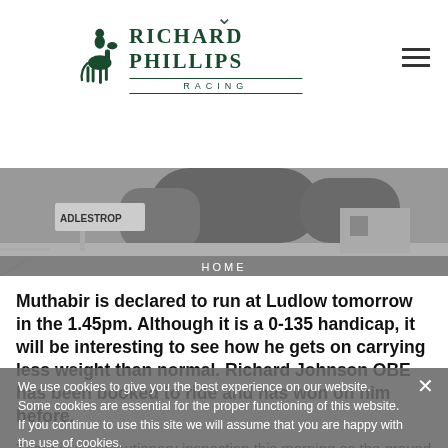Richard Phillips Racing
[Figure (photo): Black and white photo of a village sign reading ADLESTROP with trees and buildings in background, with HOME label overlay]
Muthabir is declared to run at Ludlow tomorrow in the 1.45pm.   Although it is a 0-135 handicap, it will be interesting to see how he gets on carrying less weight than normal. Richard Johnson OBE has been booked to ride and has won on him before.
There is a precautionary inspection this morning as the ground could be tacky if racing goes ahead, but he appears in good form and we are hopeful of a good run.
We use cookies to give you the best experience on our website. Some cookies are essential for the proper functioning of this website. If you continue to use this site we will assume that you are happy with the use of cookies.